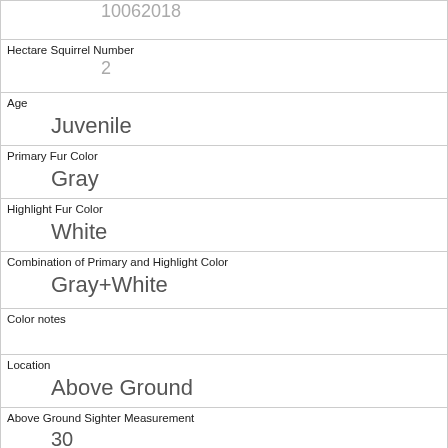| 10062018 |
| Hectare Squirrel Number | 2 |
| Age | Juvenile |
| Primary Fur Color | Gray |
| Highlight Fur Color | White |
| Combination of Primary and Highlight Color | Gray+White |
| Color notes |  |
| Location | Above Ground |
| Above Ground Sighter Measurement | 30 |
| Specific Location |  |
| Running | 0 |